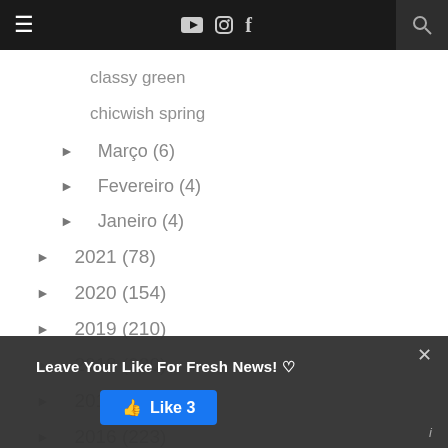≡  [YouTube] [Instagram] f  🔍
classy green
chicwish spring
► Março (6)
► Fevereiro (4)
► Janeiro (4)
► 2021 (78)
► 2020 (154)
► 2019 (210)
► 2018 (230)
► 2017 (225)
► 2016 (223)
► 2015 (172)
► 2014 (115)
[Figure (screenshot): Facebook-style popup overlay: 'Leave Your Like For Fresh News! ♡' with a blue Like 3 button and a close X button.]